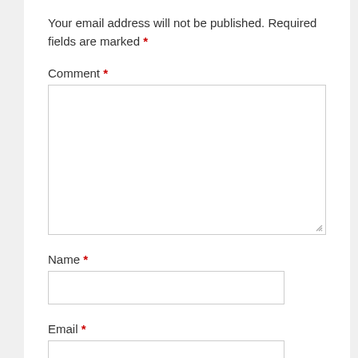Your email address will not be published. Required fields are marked *
Comment *
[Figure (other): Large textarea input box for comment entry]
Name *
[Figure (other): Single-line text input box for name entry]
Email *
[Figure (other): Single-line text input box for email entry]